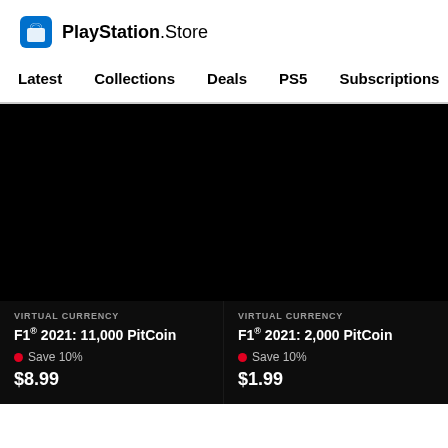[Figure (logo): PlayStation Store logo with blue shopping bag icon and text 'PlayStation Store']
Latest   Collections   Deals   PS5   Subscriptions >
[Figure (screenshot): Dark/black background area showing PlayStation Store product listings]
VIRTUAL CURRENCY
F1® 2021: 11,000 PitCoin
● Save 10%
$8.99
VIRTUAL CURRENCY
F1® 2021: 2,000 PitCoin
● Save 10%
$1.99